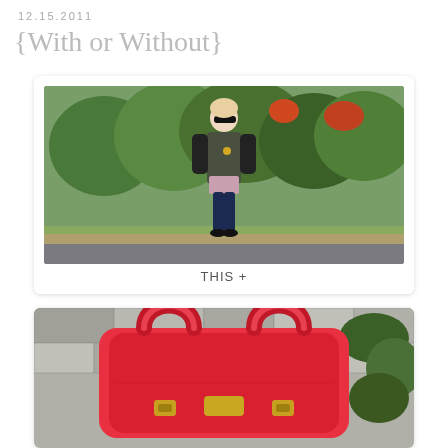12.15.2011
{With or Without}
[Figure (photo): Woman standing outdoors wearing dark vest, black top, plaid shirt, skinny jeans and black heels. Green leafy background with grass.]
THIS +
[Figure (photo): Close-up of a bright red/coral structured handbag with double handles, against a stone wall with green ivy background.]